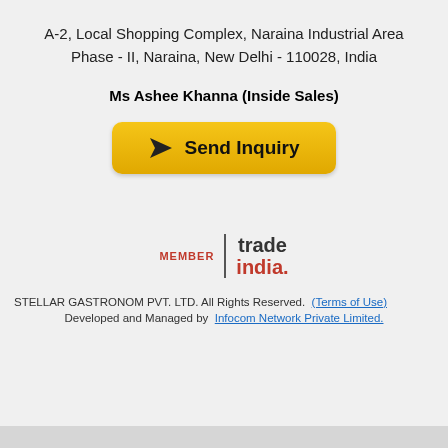A-2, Local Shopping Complex, Naraina Industrial Area Phase - II, Naraina, New Delhi - 110028, India
Ms Ashee Khanna (Inside Sales)
[Figure (other): Send Inquiry button with paper plane icon, yellow/orange gradient background]
[Figure (logo): TradeIndia membership logo: MEMBER | trade india.]
STELLAR GASTRONOM PVT. LTD. All Rights Reserved. (Terms of Use)
Developed and Managed by  Infocom Network Private Limited.